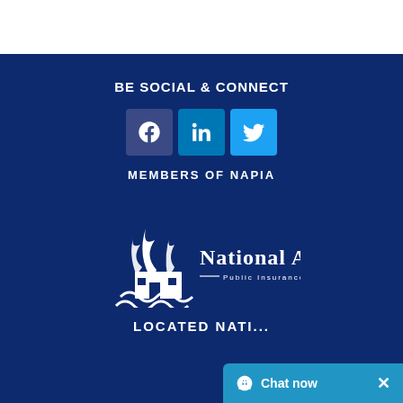BE SOCIAL & CONNECT
[Figure (infographic): Three social media icon buttons: Facebook (f), LinkedIn (in), Twitter bird icon]
MEMBERS OF NAPIA
[Figure (logo): National Adjusters Public Insurance Adjusters logo with flame and house icon]
LOCATED NATI...